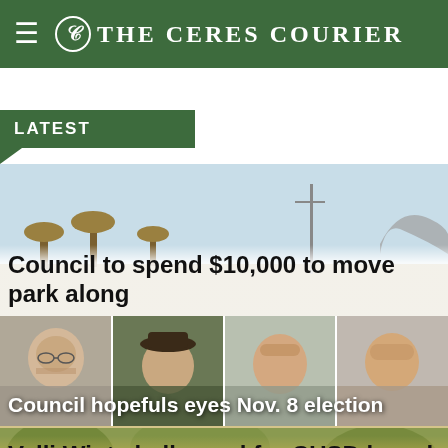The Ceres Courier
LATEST
[Figure (photo): Outdoor park with mushroom-shaped sculptures and utility poles against a light blue sky]
Council to spend $10,000 to move park along
[Figure (photo): Four headshots of council candidates side by side, dimmed]
Council hopefuls eyes Nov. 8 election
[Figure (photo): Close-up of a person's head with greenery in the background]
Valli Wigt challenged for CUSD board seat